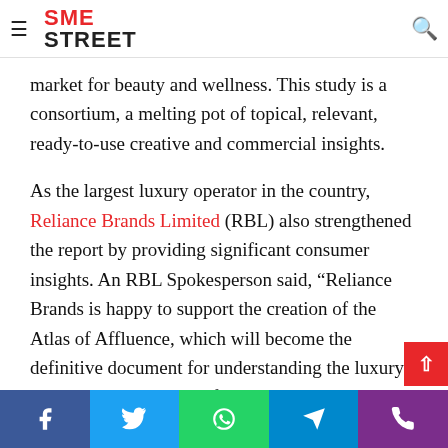SME STREET
columns, interviews, ground reports and featurettes stories on architecture, personal style, the ascendance of Asian design and global luxury, the emergence of the gold collar consumer and the growing market for beauty and wellness. This study is a consortium, a melting pot of topical, relevant, ready-to-use creative and commercial insights.
As the largest luxury operator in the country, Reliance Brands Limited (RBL) also strengthened the report by providing significant consumer insights. An RBL Spokesperson said, “Reliance Brands is happy to support the creation of the Atlas of Affluence, which will become the definitive document for understanding the luxury market in India not just for businesses already operating in this sector but for global
Facebook Twitter WhatsApp Telegram Phone